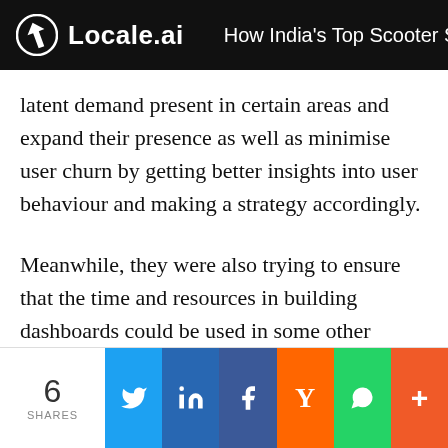Locale.ai — How India's Top Scooter Shar
latent demand present in certain areas and expand their presence as well as minimise user churn by getting better insights into user behaviour and making a strategy accordingly.
Meanwhile, they were also trying to ensure that the time and resources in building dashboards could be used in some other avenue so that they could grow more rapidly. That’s where they were looking for a tool to convert location data into insights that can aid business decisions.
6 SHARES | Twitter | LinkedIn | Facebook | Hacker News | WhatsApp | More